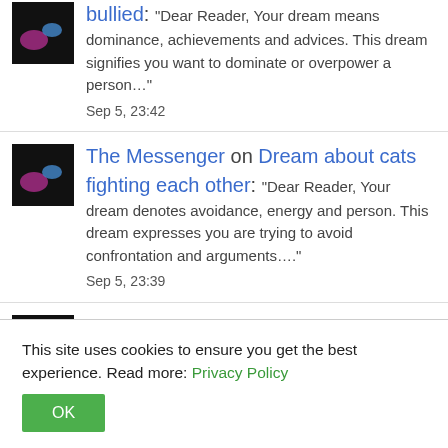bullied: "Dear Reader, Your dream means dominance, achievements and advices. This dream signifies you want to dominate or overpower a person…" Sep 5, 23:42
The Messenger on Dream about cats fighting each other: "Dear Reader, Your dream denotes avoidance, energy and person. This dream expresses you are trying to avoid confrontation and arguments…." Sep 5, 23:39
The Messenger on Dream about spiders and spider eggs: "Dear Reader, Your dream is an
This site uses cookies to ensure you get the best experience. Read more: Privacy Policy
OK